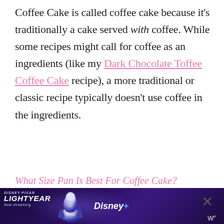Coffee Cake is called coffee cake because it's traditionally a cake served with coffee. While some recipes might call for coffee as an ingredients (like my Dark Chocolate Toffee Coffee Cake recipe), a more traditional or classic recipe typically doesn't use coffee in the ingredients.
What Size Pan Is Best For Coffee Cake?
For this recipe, I like to use an 8×8 square baking pan. It makes a
[Figure (other): Advertisement banner for Disney+ Lightyear movie showing Buzz Lightyear character, Sign Up button, Disney+ logo, and close button]